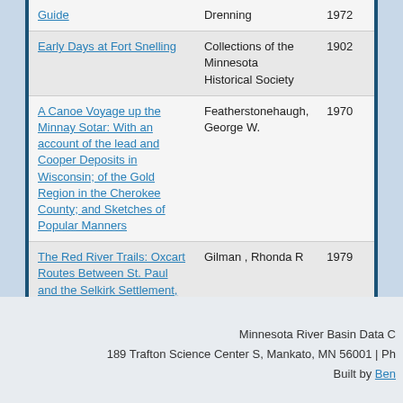| Title | Author | Year |
| --- | --- | --- |
| Guide | Drenning | 1972 |
| Early Days at Fort Snelling | Collections of the Minnesota Historical Society | 1902 |
| A Canoe Voyage up the Minnay Sotar: With an account of the lead and Cooper Deposits in Wisconsin; of the Gold Region in the Cherokee County; and Sketches of Popular Manners | Featherstonehaugh, George W. | 1970 |
| The Red River Trails: Oxcart Routes Between St. Paul and the Selkirk Settlement, 1820-1870 | Gilman , Rhonda R | 1979 |
« first  ‹ previous  ...  20  21  22  23  24  25  26  27  28  ...
Minnesota River Basin Data C  189 Trafton Science Center S, Mankato, MN 56001 | Ph  Built by Ben